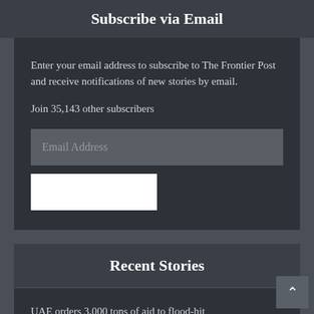Subscribe via Email
Enter your email address to subscribe to The Frontier Post and receive notifications of new stories by email.
Join 35,143 other subscribers
[Figure (screenshot): Email Address input field (text box)]
[Figure (screenshot): Subscribe button (white rectangle)]
Recent Stories
UAE orders 3,000 tons of aid to flood-hit